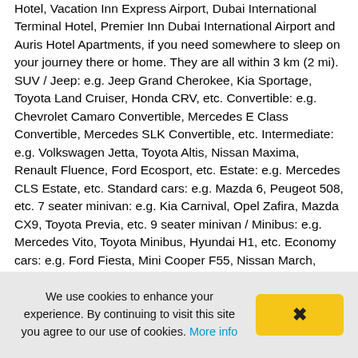Hotel, Vacation Inn Express Airport, Dubai International Terminal Hotel, Premier Inn Dubai International Airport and Auris Hotel Apartments, if you need somewhere to sleep on your journey there or home. They are all within 3 km (2 mi). SUV / Jeep: e.g. Jeep Grand Cherokee, Kia Sportage, Toyota Land Cruiser, Honda CRV, etc. Convertible: e.g. Chevrolet Camaro Convertible, Mercedes E Class Convertible, Mercedes SLK Convertible, etc. Intermediate: e.g. Volkswagen Jetta, Toyota Altis, Nissan Maxima, Renault Fluence, Ford Ecosport, etc. Estate: e.g. Mercedes CLS Estate, etc. Standard cars: e.g. Mazda 6, Peugeot 508, etc. 7 seater minivan: e.g. Kia Carnival, Opel Zafira, Mazda CX9, Toyota Previa, etc. 9 seater minivan / Minibus: e.g. Mercedes Vito, Toyota Minibus, Hyundai H1, etc. Economy cars: e.g. Ford Fiesta, Mini Cooper F55, Nissan March, Hyundai Creta, Citroen C3-XR, etc. Minivan: e.g. Toyota Hiace, Toyota Grandia, etc. Luxury cars: e.g. Rolls Royce Wraith, Mercedes CLK, etc. Premium cars: e.g. Audi A6, BMW X6, BMW 5 Series, Ford Mustang, etc. Exotic cars: e.g. BMW Z4 Convertible. Mercedes SLS. Range Rover Vogue.
We use cookies to enhance your experience. By continuing to visit this site you agree to our use of cookies. More info